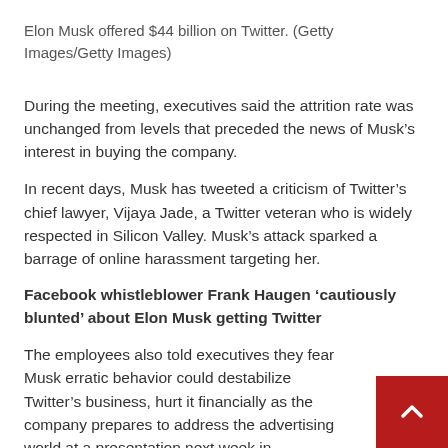Elon Musk offered $44 billion on Twitter. (Getty Images/Getty Images)
During the meeting, executives said the attrition rate was unchanged from levels that preceded the news of Musk’s interest in buying the company.
In recent days, Musk has tweeted a criticism of Twitter’s chief lawyer, Vijaya Jade, a Twitter veteran who is widely respected in Silicon Valley. Musk’s attack sparked a barrage of online harassment targeting her.
Facebook whistleblower Frank Haugen ‘cautiously blunted’ about Elon Musk getting Twitter
The employees also told executives they fear Musk erratic behavior could destabilize Twitter’s business, hurt it financially as the company prepares to address the advertising world at a presentation next week in